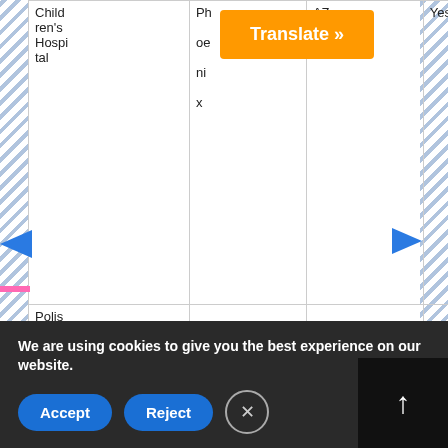| Hospital Name | Language | State | Available |
| --- | --- | --- | --- |
| Children's Hospital | Phoenix | AZ | Yes |
| Polish Mother's Memorial Hospital |  |  |  |
[Figure (screenshot): Translate button overlay in orange]
[Figure (screenshot): Black box with number 0]
We are using cookies to give you the best experience on our website.
Accept | Reject | Close (X)